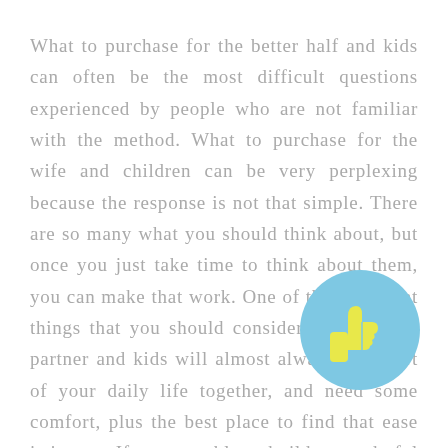What to purchase for the better half and kids can often be the most difficult questions experienced by people who are not familiar with the method. What to purchase for the wife and children can be very perplexing because the response is not that simple. There are so many what you should think about, but once you just take time to think about them, you can make that work. One of the important things that you should consider is the fact a partner and kids will almost always be a part of your daily life together, and need some comfort, plus the best place to find that ease is in you. If you are able to build a wonderful family, afterward this is what to buy pertaining to the better half and kids.

The very first thing to think about when shopping for stuff for that wife and kids is whether you may need it
[Figure (illustration): A light blue circle with a yellow thumbs-up hand icon in the center]